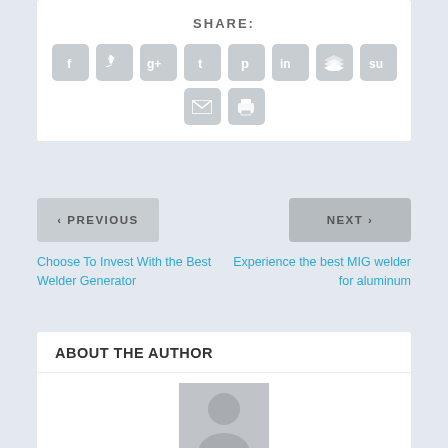SHARE:
[Figure (infographic): Row of 8 social media share icon buttons (Facebook, Twitter, Google+, Tumblr, Pinterest, LinkedIn, Buffer/layers, StumbleUpon) in grey rounded squares, plus a second row with email and print icon buttons]
< PREVIOUS
NEXT >
Choose To Invest With the Best Welder Generator
Experience the best MIG welder for aluminum
ABOUT THE AUTHOR
[Figure (photo): Default grey avatar/placeholder person silhouette icon]